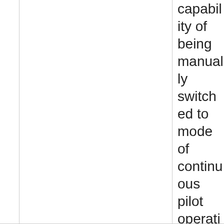capability of being manually switched to mode of continuous pilot operation, preventing pilot flame from burning continuously for more than seven days; or
in absence of